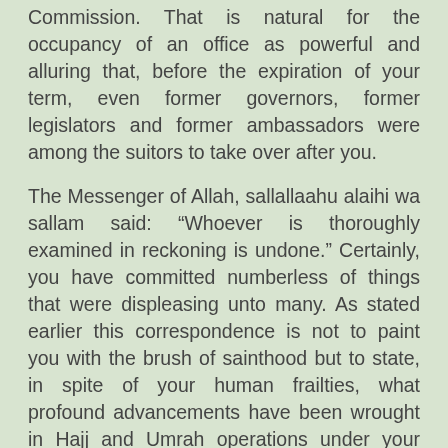Commission. That is natural for the occupancy of an office as powerful and alluring that, before the expiration of your term, even former governors, former legislators and former ambassadors were among the suitors to take over after you.
The Messenger of Allah, sallallaahu alaihi wa sallam said: “Whoever is thoroughly examined in reckoning is undone.” Certainly, you have committed numberless of things that were displeasing unto many. As stated earlier this correspondence is not to paint you with the brush of sainthood but to state, in spite of your human frailties, what profound advancements have been wrought in Hajj and Umrah operations under your watch. Nevertheless, if given the opportunity a third time, which is impossible for now, there are things, I am certain, that you would have done differently, with hindsight. The Amaanah is now on you to pass on whatever you garnered in NAHCON and what you gained in your 26-year